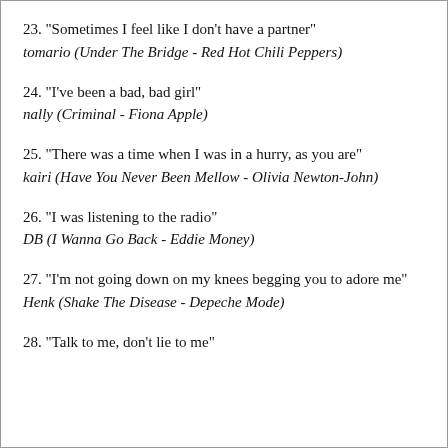23. "Sometimes I feel like I don't have a partner"
tomario (Under The Bridge - Red Hot Chili Peppers)
24. "I've been a bad, bad girl"
nally (Criminal - Fiona Apple)
25. "There was a time when I was in a hurry, as you are"
kairi (Have You Never Been Mellow - Olivia Newton-John)
26. "I was listening to the radio"
DB (I Wanna Go Back - Eddie Money)
27. "I'm not going down on my knees begging you to adore me"
Henk (Shake The Disease - Depeche Mode)
28. "Talk to me, don't lie to me"